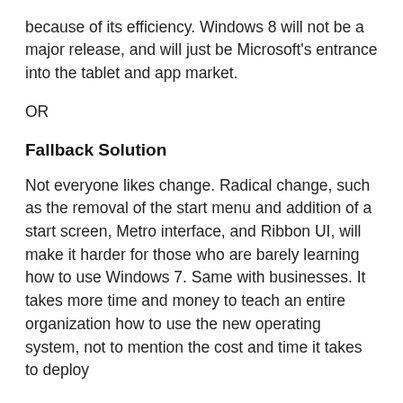because of its efficiency. Windows 8 will not be a major release, and will just be Microsoft's entrance into the tablet and app market.
OR
Fallback Solution
Not everyone likes change. Radical change, such as the removal of the start menu and addition of a start screen, Metro interface, and Ribbon UI, will make it harder for those who are barely learning how to use Windows 7. Same with businesses. It takes more time and money to teach an entire organization how to use the new operating system, not to mention the cost and time it takes to deploy